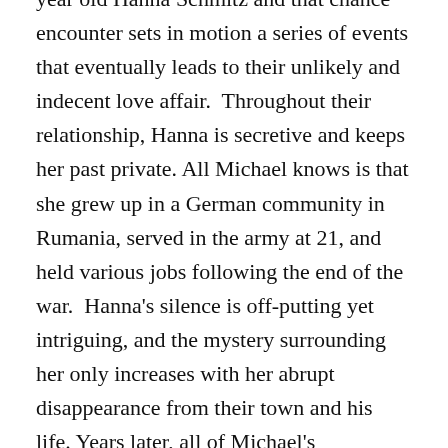year old Hanna Schmitz and that chance encounter sets in motion a series of events that eventually leads to their unlikely and indecent love affair. Throughout their relationship, Hanna is secretive and keeps her past private. All Michael knows is that she grew up in a German community in Rumania, served in the army at 21, and held various jobs following the end of the war. Hanna's silence is off-putting yet intriguing, and the mystery surrounding her only increases with her abrupt disappearance from their town and his life. Years later, all of Michael's unanswered questions about Hanna's past are revealed when he sees her in a courtroom standing trial. Hanna's shrouded past is a secret no longer.